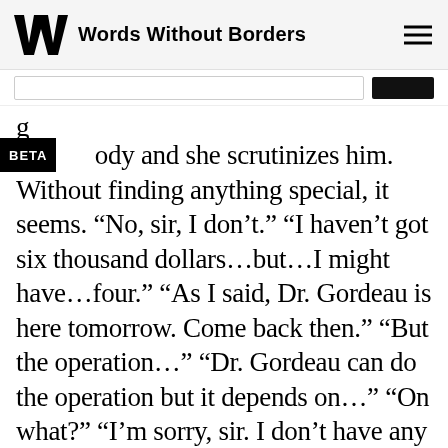Words Without Borders
ody and she scrutinizes him. Without finding anything special, it seems. “No, sir, I don’t.” “I haven’t got six thousand dollars…but…I might have…four.” “As I said, Dr. Gordeau is here tomorrow. Come back then.” “But the operation…” “Dr. Gordeau can do the operation but it depends on…” “On what?” “I’m sorry, sir. I don’t have any more time for you now. We have other patients. If you have the money, Dr. Gordeau will give you the same consideration he gives to yone.” The dogs are biting chunks out of each other in the street. Humanlike howls travel up the